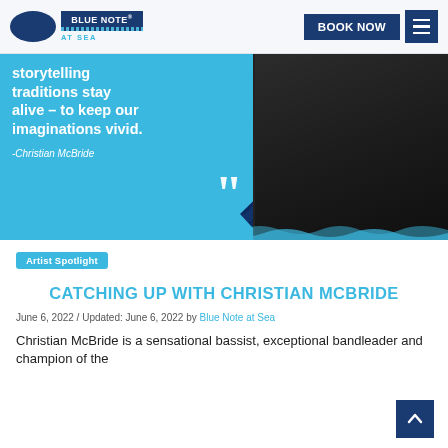Blue Note at Sea – BOOK NOW
[Figure (photo): Hero image showing a quote on a light blue background: 'storytelling traditions stay alive – to keep our imaginations vivid. -Christian McBride' with large closing quotation marks, and a person in a dark suit on the right side.]
Artist Spotlight
CATCHING UP WITH CHRISTIAN MCBRIDE
June 6, 2022 / Updated: June 6, 2022 by Blue Note at Sea
Christian McBride is a sensational bassist, exceptional bandleader and champion of the — and Blue Note at Sea is pleased to have…